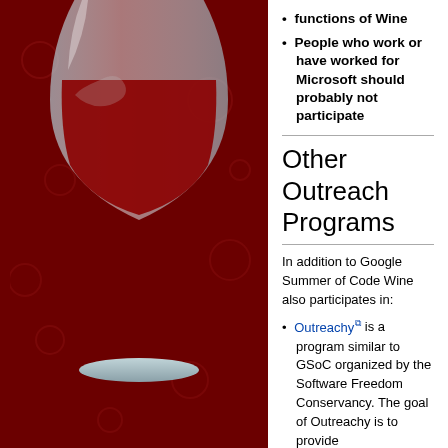[Figure (illustration): Wine goblet logo — a white/light blue glass goblet with red wine inside, set against a dark red background with faint circular patterns.]
functions of Wine
People who work or have worked for Microsoft should probably not participate
Other Outreach Programs
In addition to Google Summer of Code Wine also participates in:
Outreachy is a program similar to GSoC organized by the Software Freedom Conservancy. The goal of Outreachy is to provide encouragement, experience, and networking opportunities for minorities that are underrepresented in tech. Unlike GSoC, it is not limited to